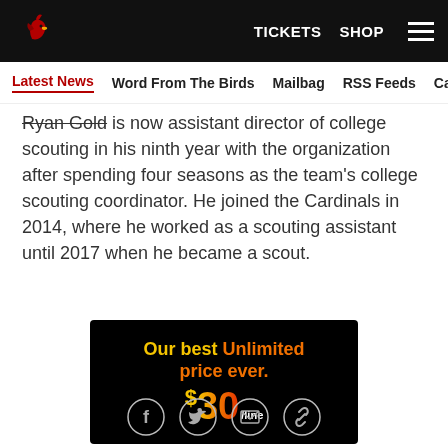Arizona Cardinals | TICKETS  SHOP
Latest News  Word From The Birds  Mailbag  RSS Feeds  Carde
Ryan Gold is now assistant director of college scouting in his ninth year with the organization after spending four seasons as the team's college scouting coordinator. He joined the Cardinals in 2014, where he worked as a scouting assistant until 2017 when he became a scout.
[Figure (other): Advertisement banner on black background: 'Our best Unlimited price ever. $30/line']
[Figure (other): Social sharing icons: Facebook, Twitter, Email, Link]